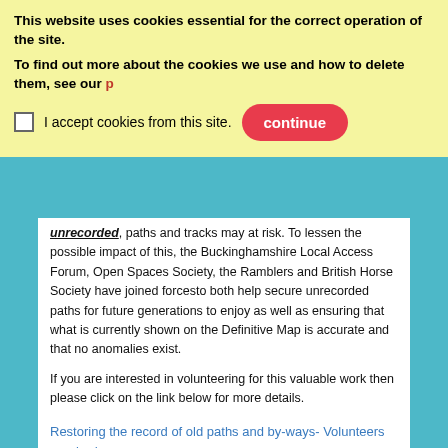This website uses cookies essential for the correct operation of the site.
To find out more about the cookies we use and how to delete them, see our
I accept cookies from this site.
unrecorded, paths and tracks may at risk. To lessen the possible impact of this, the Buckinghamshire Local Access Forum, Open Spaces Society, the Ramblers and British Horse Society have joined forcesto both help secure unrecorded paths for future generations to enjoy as well as ensuring that what is currently shown on the Definitive Map is accurate and that no anomalies exist.
If you are interested in volunteering for this valuable work then please click on the link below for more details.
Restoring the record of old paths and by-ways- Volunteers required
HS2 August 2016 update
Please click on the link below to read the August update from HS2.